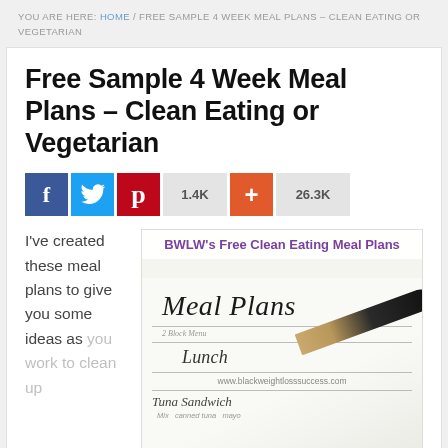YOU ARE HERE: HOME / FREE SAMPLE 4 WEEK MEAL PLANS – CLEAN EATING OR VEGETARIAN
Free Sample 4 Week Meal Plans – Clean Eating or Vegetarian
[Figure (infographic): Social sharing buttons: Facebook (blue), Twitter (light blue), Pinterest (red), count 1.4K, plus button (orange), count 26.3K]
I've created these meal plans to give you some ideas as you work to clean up
[Figure (photo): Image of a meal plan document with 'BWLW's Free Clean Eating Meal Plans' title overlay in purple, showing a document titled 'Meal Plans' with a pen, lines for '2 Block Menu', 'Lunch', website www.blackweightlosssuccess.com, and 'Tuna Sandwich' entry with 'canned tuna mayo' ingredients]